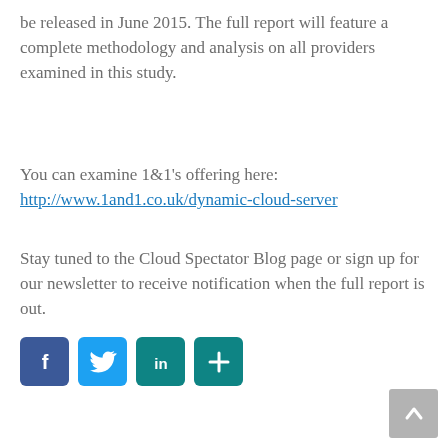be released in June 2015. The full report will feature a complete methodology and analysis on all providers examined in this study.
You can examine 1&1’s offering here:
http://www.1and1.co.uk/dynamic-cloud-server
Stay tuned to the Cloud Spectator Blog page or sign up for our newsletter to receive notification when the full report is out.
[Figure (other): Social sharing buttons: Facebook (blue), Twitter (light blue), LinkedIn (teal), and a share/plus button (teal), plus a back-to-top arrow button (grey) at bottom right.]